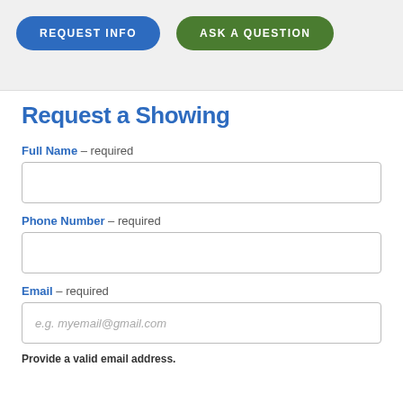[Figure (screenshot): Two rounded pill-shaped buttons: 'REQUEST INFO' in blue and 'ASK A QUESTION' in green]
Request a Showing
Full Name - required
[Figure (other): Empty text input field for Full Name]
Phone Number - required
[Figure (other): Empty text input field for Phone Number]
Email - required
[Figure (other): Email input field with placeholder 'e.g. myemail@gmail.com']
Provide a valid email address.